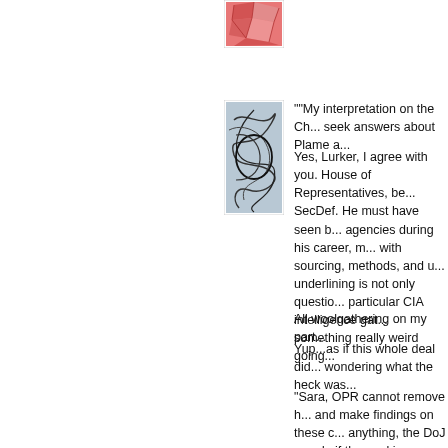[Figure (illustration): Small square avatar image with red/pink abstract fragmented leaf or wing pattern on white background]
[Figure (illustration): Small square avatar image with dark abstract scribbled lines on light blue/grey background]
""My interpretation on the Ch... seek answers about Plame a...
Yes, Lurker, I agree with you. House of Representatives, be... SecDef. He must have seen b... agencies during his career, m... with sourcing, methods, and u... underlining is not only questio... particular CIA intelligence gat... something really weird going...
All woolgathering on my part...
Yup...as if this whole deal did... wondering what the heck was...
"Sara, OPR cannot remove h... and make findings on these c... anything, the DoJ can do if th... making a public record as to t... this unconventional appointm...